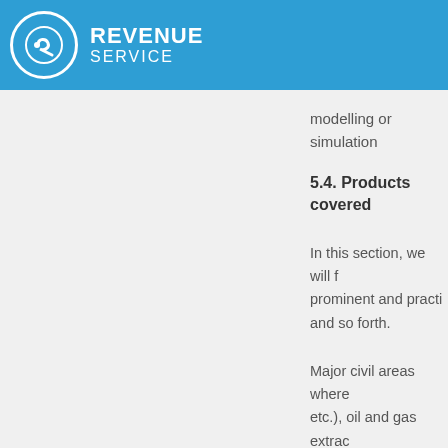REVENUE SERVICE
modelling or simulation
5.4. Products covered
In this section, we will f prominent and practi and so forth.
Major civil areas where etc.), oil and gas extrac communication (netwo polymeric materials, x- facilities systems (ther
5.4.1. Unmanned aeri